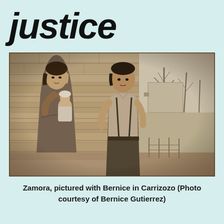justice
[Figure (photo): Sepia-toned vintage photograph of a woman holding a baby and a man standing in front of an adobe wall, with bare trees and a rural outdoor scene in the background. Zamora pictured with Bernice in Carrizozo.]
Zamora, pictured with Bernice in Carrizozo (Photo courtesy of Bernice Gutierrez)